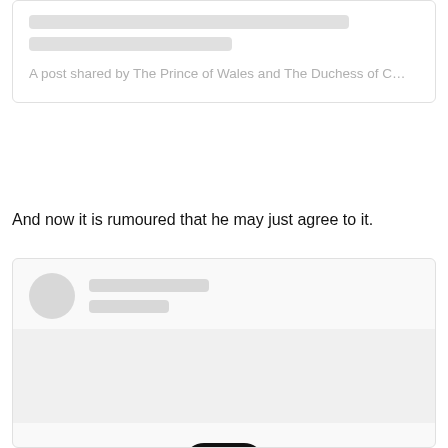[Figure (screenshot): Partial Instagram embed card showing skeleton loading lines and a grey caption text: 'A post shared by The Prince of Wales and The Duchess of C...']
And now it is rumoured that he may just agree to it.
[Figure (screenshot): Instagram embed card with avatar placeholder circle, skeleton header lines, a loading content area, Instagram logo icon, and a 'View this post on Instagram' blue link.]